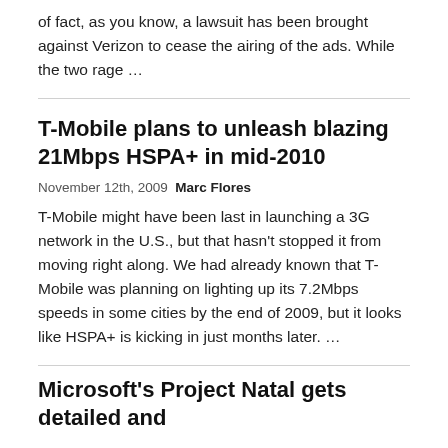of fact, as you know, a lawsuit has been brought against Verizon to cease the airing of the ads. While the two rage …
T-Mobile plans to unleash blazing 21Mbps HSPA+ in mid-2010
November 12th, 2009  Marc Flores
T-Mobile might have been last in launching a 3G network in the U.S., but that hasn't stopped it from moving right along. We had already known that T-Mobile was planning on lighting up its 7.2Mbps speeds in some cities by the end of 2009, but it looks like HSPA+ is kicking in just months later. …
Microsoft's Project Natal gets detailed and